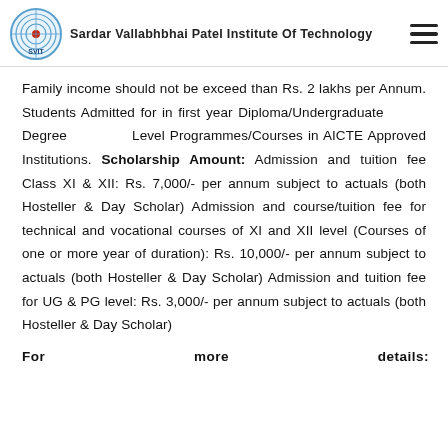Sardar Vallabhbhai Patel Institute Of Technology
Family income should not be exceed than Rs. 2 lakhs per Annum. Students Admitted for in first year Diploma/Undergraduate Degree Level Programmes/Courses in AICTE Approved Institutions. Scholarship Amount: Admission and tuition fee Class XI & XII: Rs. 7,000/- per annum subject to actuals (both Hosteller & Day Scholar) Admission and course/tuition fee for technical and vocational courses of XI and XII level (Courses of one or more year of duration): Rs. 10,000/- per annum subject to actuals (both Hosteller & Day Scholar) Admission and tuition fee for UG & PG level: Rs. 3,000/- per annum subject to actuals (both Hosteller & Day Scholar)
For more details: